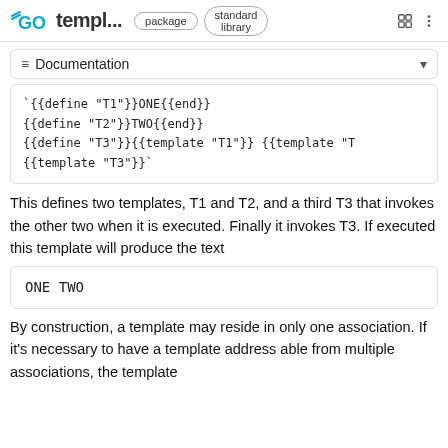GO templ... package standard library
≡ Documentation
`{{define "T1"}}ONE{{end}}
{{define "T2"}}TWO{{end}}
{{define "T3"}}{{template "T1"}} {{template "T...
{{template "T3"}}`
This defines two templates, T1 and T2, and a third T3 that invokes the other two when it is executed. Finally it invokes T3. If executed this template will produce the text
ONE  TWO
By construction, a template may reside in only one association. If it's necessary to have a template address able from multiple associations, the template...